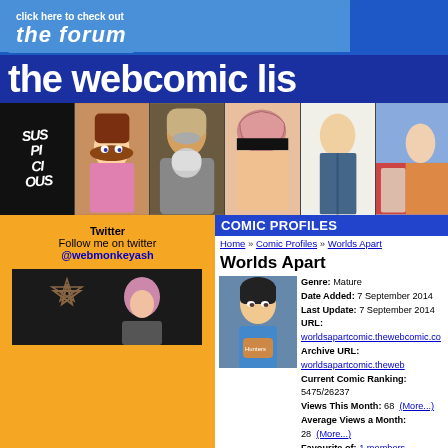click here to check out the forum
the webcomic lis
[Figure (illustration): Webcomic banner strip with panels: SUSPICIOUS text logo, anime girl with brown hair, armored figure, brain-headed character, bald man in suit, colorful scene]
Twitter
Follow me on twitter
@webmonkeyash
[Figure (photo): Dark image with star/pentagram and figure with pink hair]
COMIC PROFILES
Home » Comic Profiles » Worlds Apart
Worlds Apart
[Figure (illustration): Comic thumbnail showing anime-style young man with dark hair holding something, blue shirt]
Genre: Mature
Date Added: 7 September 2014
Last Update: 7 September 2014
URL: worldsapartcomic.thewebcomic.co
Archive URL: worldsapartcomic.theweb
Current Comic Ranking: 5475/26237
Views This Month: 68  (More...)
Average Views a Month: 28  (More...)
Favourite of: 1 members
Status: Not Checked For Updates (?)
Synopsis:
Worlds Apart is a comic about a young man called Avery who and runs away to London with his brother. There they m